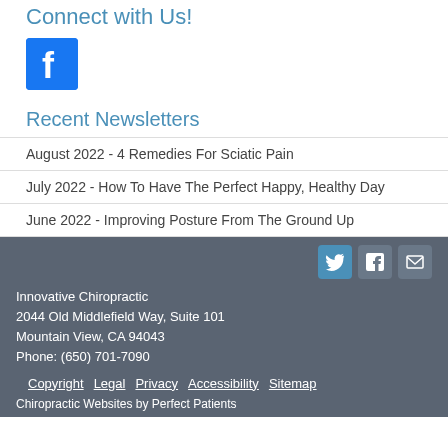Connect with Us!
[Figure (logo): Facebook logo icon - blue square with white 'f' letter]
Recent Newsletters
August 2022 - 4 Remedies For Sciatic Pain
July 2022 - How To Have The Perfect Happy, Healthy Day
June 2022 - Improving Posture From The Ground Up
Innovative Chiropractic
2044 Old Middlefield Way, Suite 101
Mountain View, CA 94043
Phone: (650) 701-7090
Copyright  Legal  Privacy  Accessibility  Sitemap
Chiropractic Websites by Perfect Patients